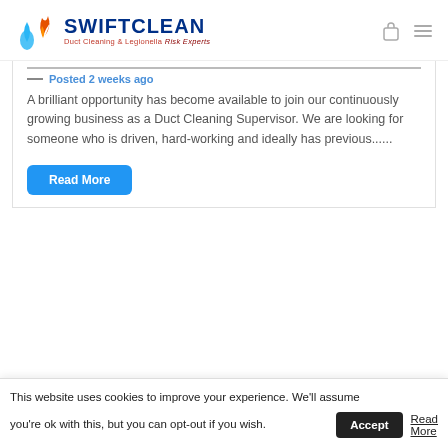[Figure (logo): SwiftClean logo with flame/water droplet icon, text 'SWIFTCLEAN' in navy blue, tagline 'Duct Cleaning & Legionella Risk Experts' in red/italic]
Posted 2 weeks ago
A brilliant opportunity has become available to join our continuously growing business as a Duct Cleaning Supervisor. We are looking for someone who is driven, hard-working and ideally has previous......
Read More
This website uses cookies to improve your experience. We'll assume you're ok with this, but you can opt-out if you wish.
Accept
Read More